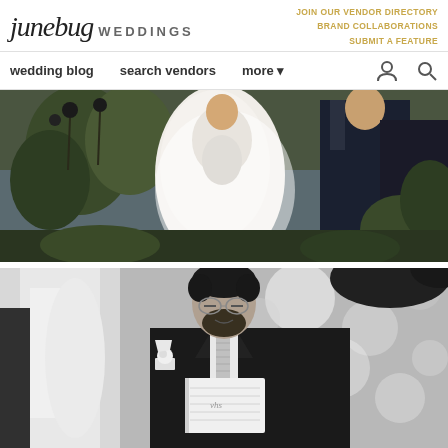junebug WEDDINGS | JOIN OUR VENDOR DIRECTORY | BRAND COLLABORATIONS | SUBMIT A FEATURE
wedding blog | search vendors | more
[Figure (photo): Color photo of a wedding ceremony outdoors; bride in white flowing gown and veil standing at altar with groom in dark suit, surrounded by greenery and flowers, with a lake in the background]
[Figure (photo): Black and white photo of a groom in dark suit reading vows from a small booklet, with patterned tie and boutonniere, a bride partially visible on the left side]